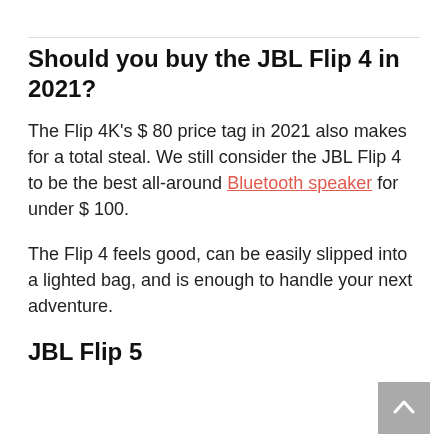…
Should you buy the JBL Flip 4 in 2021?
The Flip 4K's $ 80 price tag in 2021 also makes for a total steal. We still consider the JBL Flip 4 to be the best all-around Bluetooth speaker for under $ 100.
The Flip 4 feels good, can be easily slipped into a lighted bag, and is enough to handle your next adventure.
JBL Flip 5